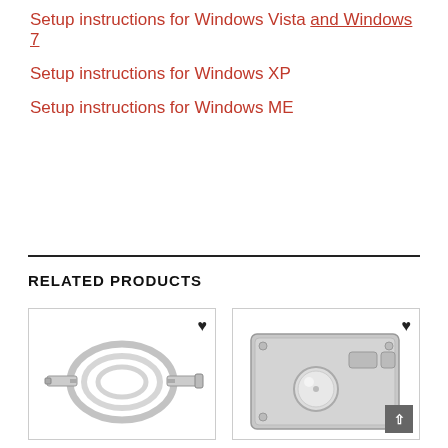Setup instructions for Windows Vista and Windows 7
Setup instructions for Windows XP
Setup instructions for Windows ME
RELATED PRODUCTS
[Figure (photo): Photo of a USB/ethernet cable coiled, shown in a product card with a heart/wishlist icon]
[Figure (photo): Photo of a metal industrial trackball device with two buttons, shown in a product card with a heart/wishlist icon]